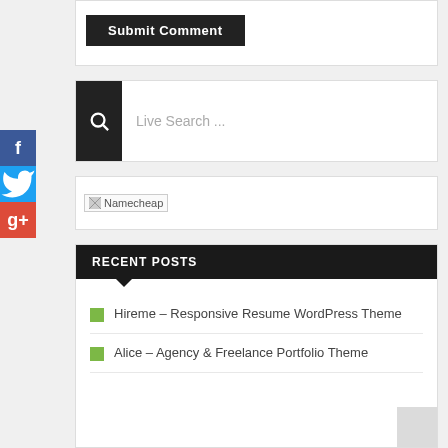[Figure (screenshot): Submit Comment button — dark rectangle with white bold text]
[Figure (screenshot): Live Search box with dark search icon button on left and placeholder text 'Live Search ...']
[Figure (screenshot): Namecheap banner placeholder image]
RECENT POSTS
Hireme – Responsive Resume WordPress Theme
Alice – Agency & Freelance Portfolio Theme